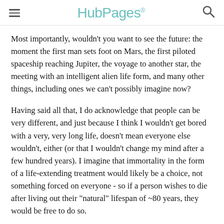HubPages
Most importantly, wouldn't you want to see the future: the moment the first man sets foot on Mars, the first piloted spaceship reaching Jupiter, the voyage to another star, the meeting with an intelligent alien life form, and many other things, including ones we can't possibly imagine now?
Having said all that, I do acknowledge that people can be very different, and just because I think I wouldn't get bored with a very, very long life, doesn't mean everyone else wouldn't, either (or that I wouldn't change my mind after a few hundred years). I imagine that immortality in the form of a life-extending treatment would likely be a choice, not something forced on everyone - so if a person wishes to die after living out their "natural" lifespan of ~80 years, they would be free to do so.
Truth be told, I believe that some people only use this argument because they are trying to convince themselves they're OK with the idea of dying, perhaps without realizing